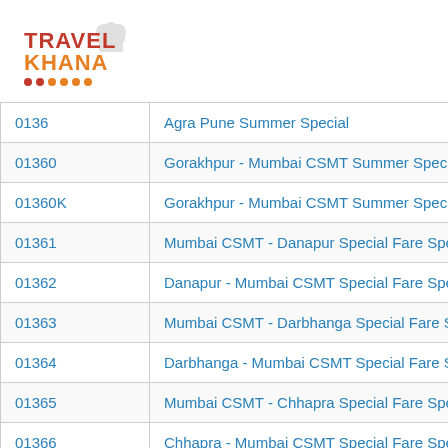[Figure (logo): Travel Khana logo with chef hat icon and decorative dots]
| Code | Name |
| --- | --- |
| 0136 | Agra Pune Summer Special |
| 01360 | Gorakhpur - Mumbai CSMT Summer Specia |
| 01360K | Gorakhpur - Mumbai CSMT Summer Specia |
| 01361 | Mumbai CSMT - Danapur Special Fare Spec |
| 01362 | Danapur - Mumbai CSMT Special Fare Spec |
| 01363 | Mumbai CSMT - Darbhanga Special Fare Sp |
| 01364 | Darbhanga - Mumbai CSMT Special Fare Sp |
| 01365 | Mumbai CSMT - Chhapra Special Fare Spec |
| 01366 | Chhapra - Mumbai CSMT Special Fare Spec |
| 01367 | Mumbai LTT - Gorakhpur Special Fare Spec |